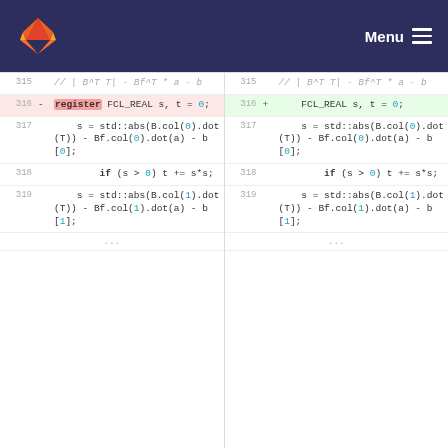Menu
[Figure (screenshot): GitLab diff view showing code changes between two versions. Left side shows deleted line 316 with 'register FCL_REAL s, t = 0;' and right side shows added line 316 with 'FCL_REAL s, t = 0;'. Lines 315, 317, 318, 319 are context lines showing C++ code.]